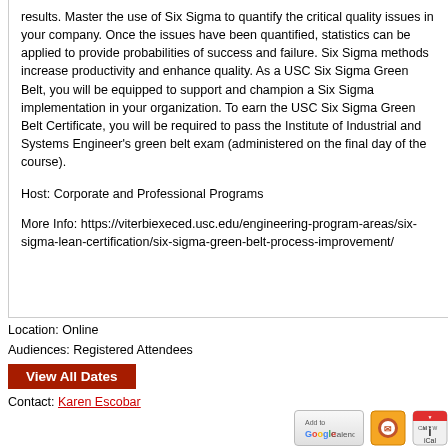results. Master the use of Six Sigma to quantify the critical quality issues in your company. Once the issues have been quantified, statistics can be applied to provide probabilities of success and failure. Six Sigma methods increase productivity and enhance quality. As a USC Six Sigma Green Belt, you will be equipped to support and champion a Six Sigma implementation in your organization. To earn the USC Six Sigma Green Belt Certificate, you will be required to pass the Institute of Industrial and Systems Engineer's green belt exam (administered on the final day of the course).
Host: Corporate and Professional Programs
More Info: https://viterbiexeced.usc.edu/engineering-program-areas/six-sigma-lean-certification/six-sigma-green-belt-process-improvement/
Location: Online
Audiences: Registered Attendees
View All Dates
Contact: Karen Escobar
[Figure (other): Add to Google Calendar button, Thunderbird calendar icon, and iCal icon]